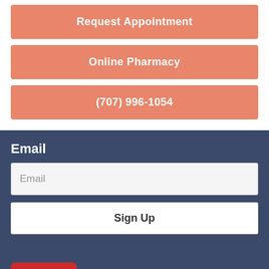Request Appointment
Online Pharmacy
(707) 996-1054
Email
Email
Sign Up
[Figure (logo): Red logo with letters resembling 'AMA' on a red background]
The Standard of